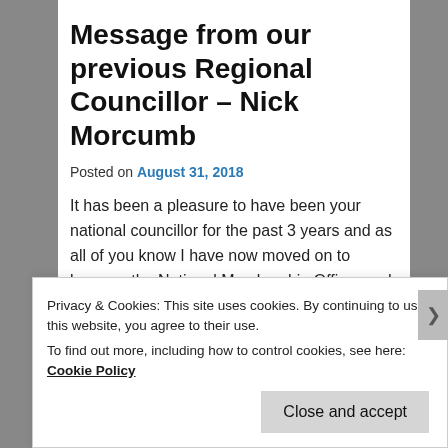Message from our previous Regional Councillor – Nick Morcumb
Posted on August 31, 2018
It has been a pleasure to have been your national councillor for the past 3 years and as all of you know I have now moved on to become the National Membership Officer and I am still active in the area so my door is always open to anyone who needs help.
Privacy & Cookies: This site uses cookies. By continuing to use this website, you agree to their use.
To find out more, including how to control cookies, see here: Cookie Policy
Close and accept